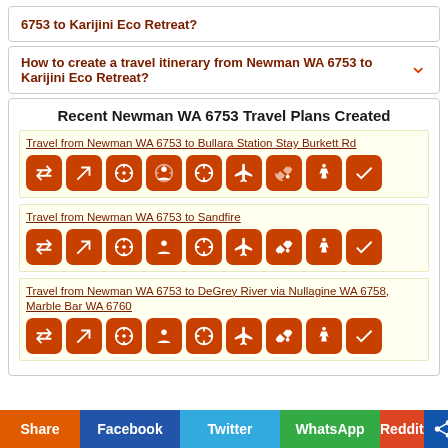6753 to Karijini Eco Retreat?
How to create a travel itinerary from Newman WA 6753 to Karijini Eco Retreat?
Recent Newman WA 6753 Travel Plans Created
Travel from Newman WA 6753 to Bullara Station Stay Burkett Rd
Travel from Newman WA 6753 to Sandfire
Travel from Newman WA 6753 to DeGrey River via Nullagine WA 6758, Marble Bar WA 6760
Share | Facebook | Twitter | WhatsApp | Reddit